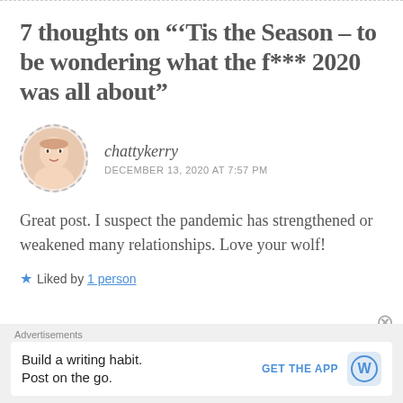7 thoughts on "‘Tis the Season – to be wondering what the f*** 2020 was all about"
chattykerry
DECEMBER 13, 2020 AT 7:57 PM
Great post. I suspect the pandemic has strengthened or weakened many relationships. Love your wolf!
★ Liked by 1 person
Advertisements
Build a writing habit. Post on the go.
GET THE APP